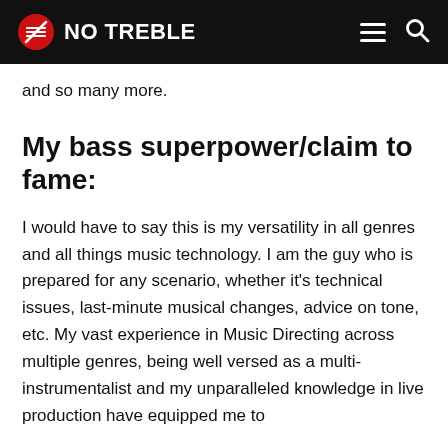NO TREBLE
and so many more.
My bass superpower/claim to fame:
I would have to say this is my versatility in all genres and all things music technology. I am the guy who is prepared for any scenario, whether it's technical issues, last-minute musical changes, advice on tone, etc. My vast experience in Music Directing across multiple genres, being well versed as a multi-instrumentalist and my unparalleled knowledge in live production have equipped me to